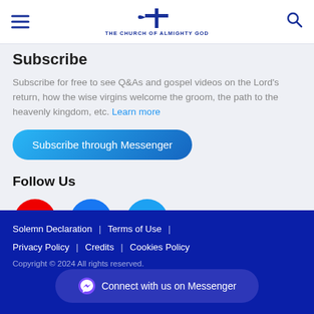THE CHURCH OF ALMIGHTY GOD
Subscribe
Subscribe for free to see Q&As and gospel videos on the Lord's return, how the wise virgins welcome the groom, the path to the heavenly kingdom, etc. Learn more
[Figure (other): Subscribe through Messenger button]
Follow Us
[Figure (other): Social media icons: YouTube, Facebook, Twitter]
Solemn Declaration | Terms of Use | Privacy Policy | Credits | Cookies Policy | Copyright © 2024 All rights reserved. Connect with us on Messenger